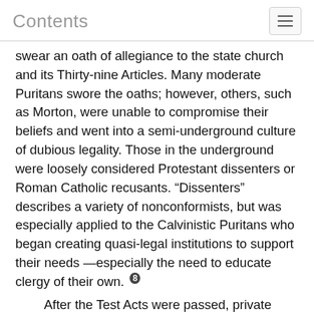Contents
swear an oath of allegiance to the state church and its Thirty-nine Articles. Many moderate Puritans swore the oaths; however, others, such as Morton, were unable to compromise their beliefs and went into a semi-underground culture of dubious legality. Those in the underground were loosely considered Protestant dissenters or Roman Catholic recusants. “Dissenters” describes a variety of nonconformists, but was especially applied to the Calvinistic Puritans who began creating quasi-legal institutions to support their needs —especially the need to educate clergy of their own. [8]
After the Test Acts were passed, private “academies” began to form to take the place of an Oxford or Cambridge education. Students went to live in the home of someone with a reputation for
(p64)
education who was willing to teach them in exchange for a reasonable amount of money. No charters